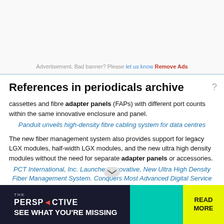Advertisement. Bad banner? Please let us know Remove Ads
References in periodicals archive
cassettes and fibre adapter panels (FAPs) with different port counts within the same innovative enclosure and panel.
Panduit unveils high-density fibre cabling system for data centres
The new fiber management system also provides support for legacy LGX modules, half-width LGX modules, and the new ultra high density modules without the need for separate adapter panels or accessories.
PCT International, Inc. Launches Innovative, New Ultra High Density Fiber Management System. Conquers Most Advanced Digital Service Providers' Space Constraints.
[Figure (photo): Advertisement banner at the bottom: dark background with 'THE PERSPECTIVE' branding, text 'SEE WHAT YOU'RE MISSING' and a yellow 'READ MORE' button on teal background]